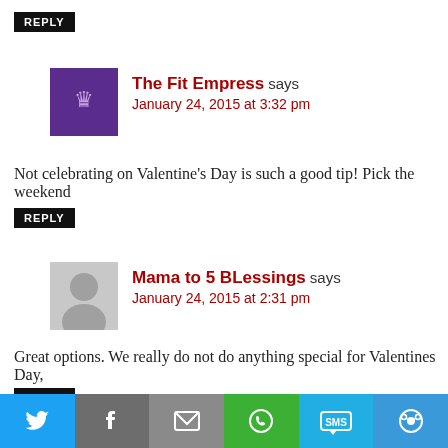REPLY
The Fit Empress says
January 24, 2015 at 3:32 pm
Not celebrating on Valentine's Day is such a good tip! Pick the weekend
REPLY
Mama to 5 BLessings says
January 24, 2015 at 2:31 pm
Great options. We really do not do anything special for Valentines Day,
REPLY
Christin @ Blue Crab Martini says
[Figure (infographic): Social sharing bar with Twitter, Facebook, Email, WhatsApp, SMS, and More buttons]